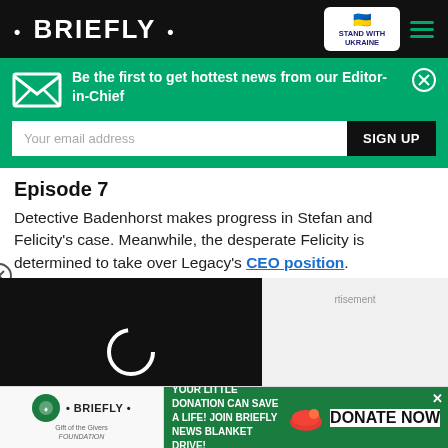• BRIEFLY •
[Figure (screenshot): Newsletter signup bar with envelope icon, text 'Be the first to get hottest news from our Editor-in-Chief', email input and SIGN UP button on green background]
Episode 7
Detective Badenhorst makes progress in Stefan and Felicity's case. Meanwhile, the desperate Felicity is determined to take over Legacy's CEO position.
[Figure (screenshot): Loading video player with black background and white spinner icon]
[Figure (infographic): Bottom advertisement banner: 'YOUR LITTLE DONATION CAN SAVE A LIFE! JOIN BRIEFLY NEWS BLANKET DRIVE!' with DONATE NOW button on green background]